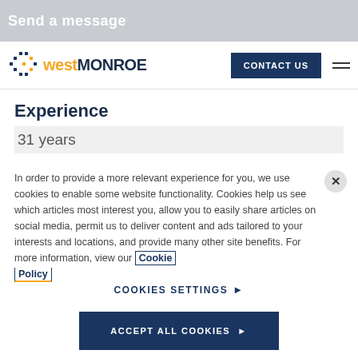Send a message
[Figure (logo): West Monroe logo with dot grid icon and text 'westMONROE']
CONTACT US
Experience
31 years
In order to provide a more relevant experience for you, we use cookies to enable some website functionality. Cookies help us see which articles most interest you, allow you to easily share articles on social media, permit us to deliver content and ads tailored to your interests and locations, and provide many other site benefits. For more information, view our Cookie Policy
COOKIES SETTINGS
ACCEPT ALL COOKIES